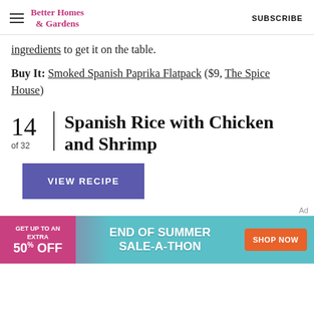Better Homes & Gardens | SUBSCRIBE
ingredients to get it on the table.
Buy It: Smoked Spanish Paprika Flatpack ($9, The Spice House)
14 of 32 | Spanish Rice with Chicken and Shrimp
VIEW RECIPE
[Figure (other): Advertisement banner: GET UP TO AN EXTRA 50% OFF | END OF SUMMER SALE-A-THON | SHOP NOW]